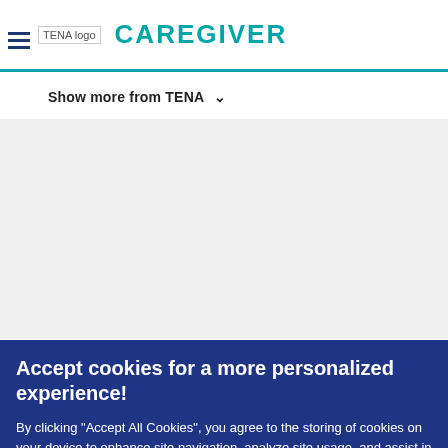TENA logo | CAREGIVER
Show more from TENA ∨
[Figure (screenshot): Gray content area placeholder for website body content]
This is TENA
TENA is a brand of Essity, a leading global…
Accept cookies for a more personalized experience!
By clicking "Accept All Cookies", you agree to the storing of cookies on your device to enhance site navigation, analyze site usage, and assist in our marketing efforts.
Accept All Cookies | Manage your choices